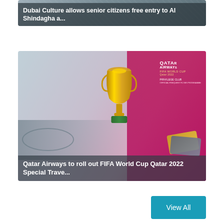[Figure (screenshot): News card with background image of Al Shindagha historic district, with overlay text: Dubai Culture allows senior citizens free entry to Al Shindagha a...]
Dubai Culture allows senior citizens free entry to Al Shindagha a...
[Figure (screenshot): News card showing Qatar Airways FIFA World Cup Qatar 2022 promotional image with golden World Cup trophy, stadium aerial view, and Qatar Airways Privilege Club branding on magenta background. Overlay text: Qatar Airways to roll out FIFA World Cup Qatar 2022 Special Trave...]
Qatar Airways to roll out FIFA World Cup Qatar 2022 Special Trave...
View All